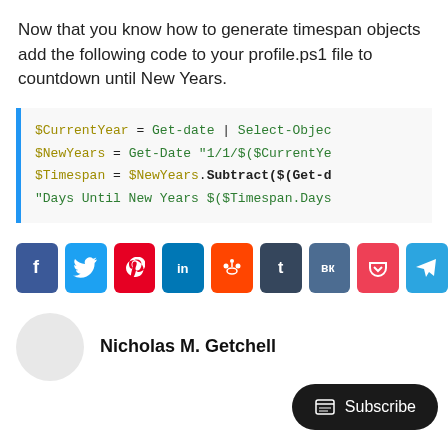Now that you know how to generate timespan objects add the following code to your profile.ps1 file to countdown until New Years.
[Figure (screenshot): Code block with PowerShell code showing $CurrentYear, $NewYears, $Timespan variable assignments and a days-until countdown string]
[Figure (infographic): Social media share buttons: Facebook, Twitter, Pinterest, LinkedIn, Reddit, Tumblr, VK, Pocket, Telegram]
Nicholas M. Getchell
Subscribe